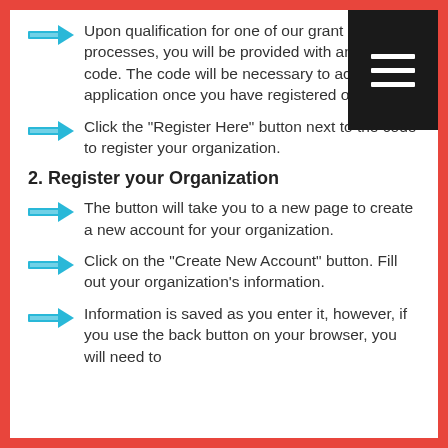Upon qualification for one of our grant processes, you will be provided with an access code. The code will be necessary to access the application once you have registered on our site.
Click the “Register Here” button next to the code to register your organization.
2. Register your Organization
The button will take you to a new page to create a new account for your organization.
Click on the “Create New Account” button. Fill out your organization’s information.
Information is saved as you enter it, however, if you use the back button on your browser, you will need to